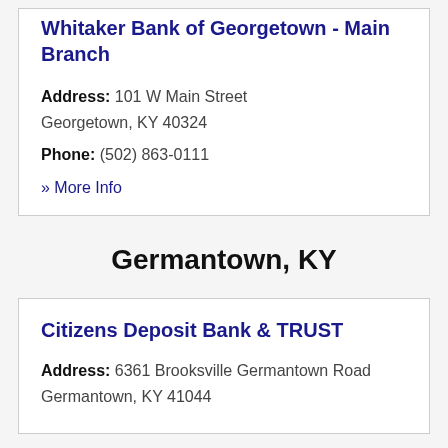Whitaker Bank of Georgetown - Main Branch
Address: 101 W Main Street
Georgetown, KY 40324
Phone: (502) 863-0111
» More Info
Germantown, KY
Citizens Deposit Bank & TRUST
Address: 6361 Brooksville Germantown Road
Germantown, KY 41044